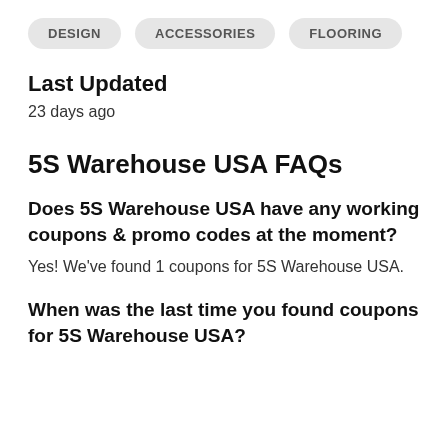DESIGN
ACCESSORIES
FLOORING
Last Updated
23 days ago
5S Warehouse USA FAQs
Does 5S Warehouse USA have any working coupons & promo codes at the moment?
Yes! We've found 1 coupons for 5S Warehouse USA.
When was the last time you found coupons for 5S Warehouse USA?